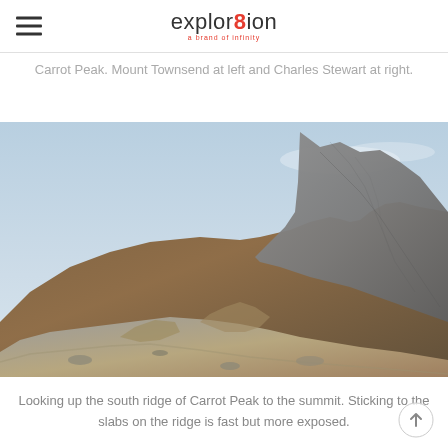explor8ion
Carrot Peak. Mount Townsend at left and Charles Stewart at right.
[Figure (photo): Mountain ridge photo looking up the south ridge of Carrot Peak. Rocky, rugged terrain with grey and brown rock faces. A ridgeline curves from lower left up to a prominent summit on the right. Light blue sky with slight haze in the upper background.]
Looking up the south ridge of Carrot Peak to the summit. Sticking to the slabs on the ridge is fast but more exposed.